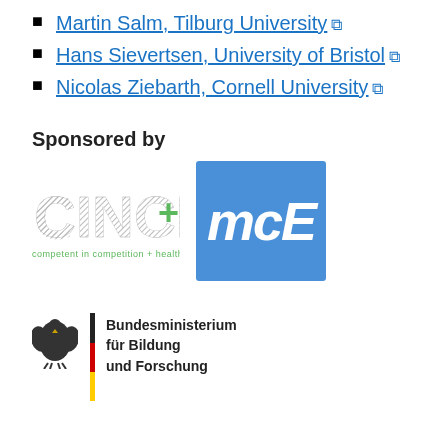Martin Salm, Tilburg University
Hans Sievertsen, University of Bristol
Nicolas Ziebarth, Cornell University
Sponsored by
[Figure (logo): CINCH logo — competent in competition + health]
[Figure (logo): mcE logo — blue square with white italic mcE text]
[Figure (logo): Bundesministerium für Bildung und Forschung logo with German eagle and striped bar]